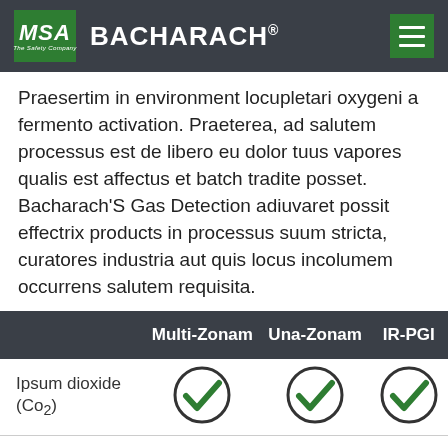MSA The Safety Company | BACHARACH.
Praesertim in environment locupletari oxygeni a fermento activation. Praeterea, ad salutem processus est de libero eu dolor tuus vapores qualis est affectus et batch tradite posset. Bacharach'S Gas Detection adiuvaret possit effectrix products in processus suum stricta, curatores industria aut quis locus incolumem occurrens salutem requisita.
|  | Multi-Zonam | Una-Zonam | IR-PGI |
| --- | --- | --- | --- |
| Ipsum dioxide (Co2) | ✓ | ✓ | ✓ |